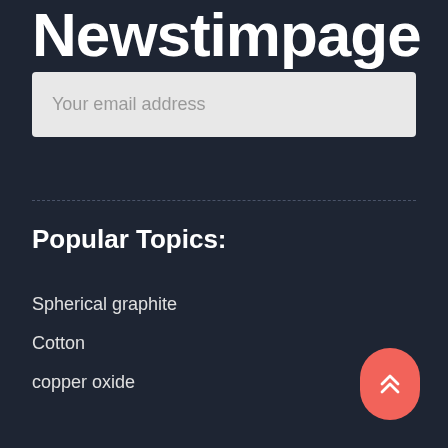Newstimpage
Your email address
Popular Topics:
Spherical graphite
Cotton
copper oxide